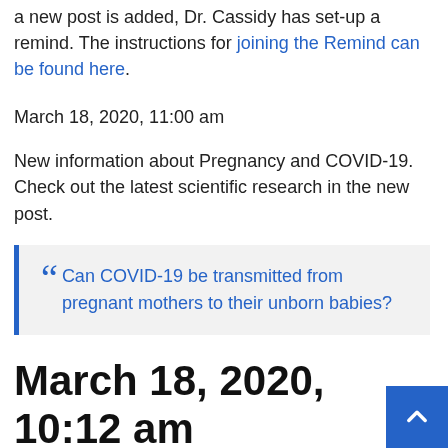a new post is added, Dr. Cassidy has set-up a remind. The instructions for joining the Remind can be found here.
March 18, 2020, 11:00 am
New information about Pregnancy and COVID-19. Check out the latest scientific research in the new post.
"Can COVID-19 be transmitted from pregnant mothers to their unborn babies?
March 18, 2020, 10:12 am